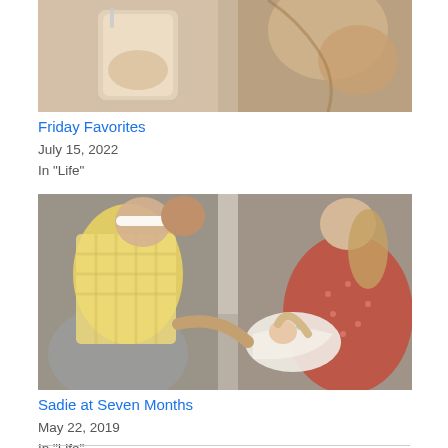[Figure (photo): Top portion of a photo showing two people holding drinks (iced coffee), cropped at the top of the page]
Friday Favorites
July 15, 2022
In "Life"
[Figure (photo): Family photo showing a toddler girl in a yellow dress wearing a white headband, a man holding her, and a woman in a rust/red polka-dot top holding a newborn baby wrapped in a white patterned swaddle]
Sadie at Seven Months
May 22, 2019
In "Life"